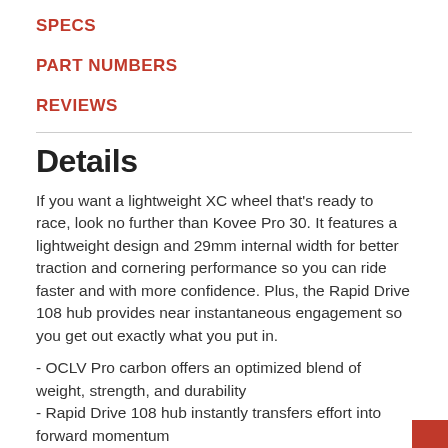SPECS
PART NUMBERS
REVIEWS
Details
If you want a lightweight XC wheel that's ready to race, look no further than Kovee Pro 30. It features a lightweight design and 29mm internal width for better traction and cornering performance so you can ride faster and with more confidence. Plus, the Rapid Drive 108 hub provides near instantaneous engagement so you get out exactly what you put in.
- OCLV Pro carbon offers an optimized blend of weight, strength, and durability
- Rapid Drive 108 hub instantly transfers effort into forward momentum